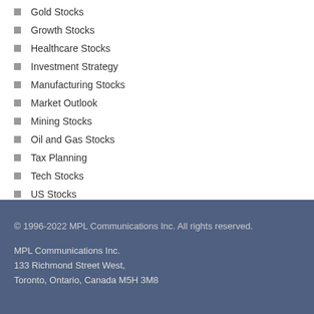Gold Stocks
Growth Stocks
Healthcare Stocks
Investment Strategy
Manufacturing Stocks
Market Outlook
Mining Stocks
Oil and Gas Stocks
Tax Planning
Tech Stocks
US Stocks
© 1996-2022 MPL Communications Inc. All rights reserved.
MPL Communications Inc.
133 Richmond Street West,
Toronto, Ontario, Canada M5H 3M8